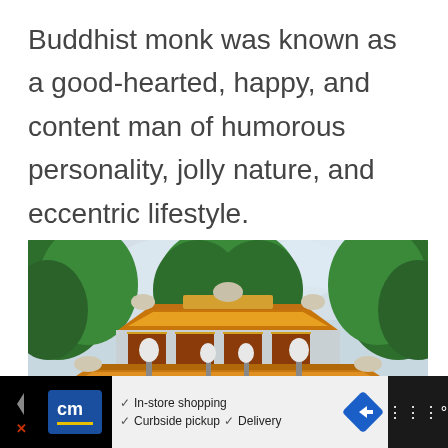Buddhist monk was known as a good-hearted, happy, and content man of humorous personality, jolly nature, and eccentric lifestyle.
[Figure (photo): Photograph of a traditional East Asian Buddhist temple with ornate curved rooftop tiling, decorative dragon sculptures, white lamp posts, and lush green trees in the background.]
[Figure (infographic): Advertisement bar showing a CM logo in blue, checkmarks for In-store shopping, Curbside pickup, and Delivery, a blue diamond arrow icon, and a dark block on the right.]